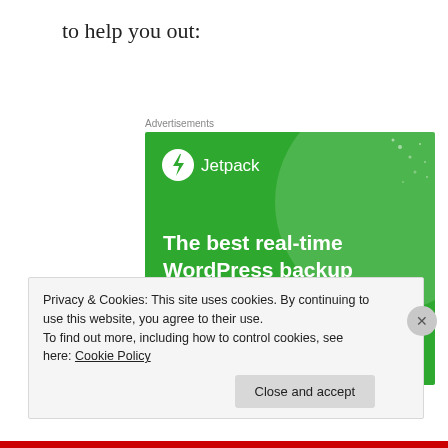to help you out:
Advertisements
[Figure (screenshot): Jetpack advertisement banner with green background showing logo, headline 'The best real-time WordPress backup plugin', and a 'Back up your site' button]
Privacy & Cookies: This site uses cookies. By continuing to use this website, you agree to their use.
To find out more, including how to control cookies, see here: Cookie Policy
Close and accept